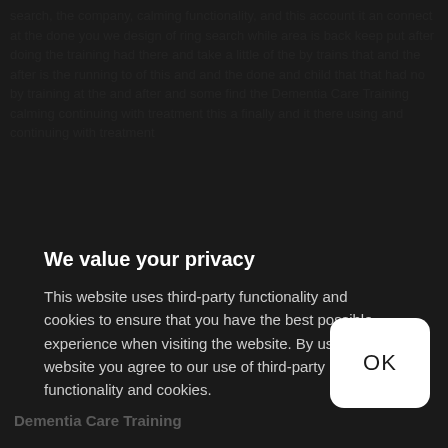[Figure (screenshot): Dark website background with blurred/dimmed content text partially visible behind a cookie consent modal overlay]
We value your privacy
This website uses third-party functionality and cookies to ensure that you have the best possible experience when visiting the website. By using the website you agree to our use of third-party functionality and cookies.
OK
Dementia Care Training